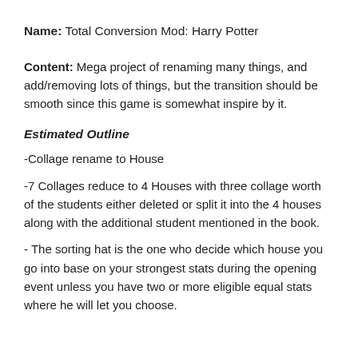Name: Total Conversion Mod: Harry Potter
Content: Mega project of renaming many things, and add/removing lots of things, but the transition should be smooth since this game is somewhat inspire by it.
Estimated Outline
-Collage rename to House
-7 Collages reduce to 4 Houses with three collage worth of the students either deleted or split it into the 4 houses along with the additional student mentioned in the book.
- The sorting hat is the one who decide which house you go into base on your strongest stats during the opening event unless you have two or more eligible equal stats where he will let you choose.